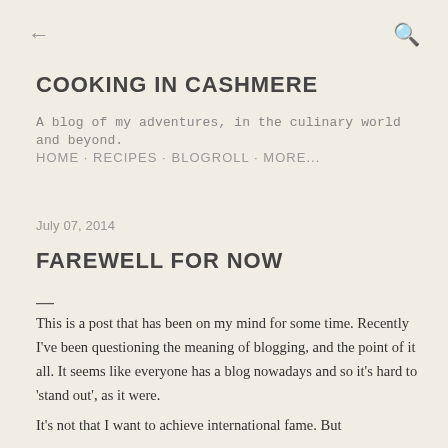← (back) | 🔍 (search)
COOKING IN CASHMERE
A blog of my adventures, in the culinary world and beyond.
HOME · RECIPES · BLOGROLL · MORE...
July 07, 2014
FAREWELL FOR NOW
—
This is a post that has been on my mind for some time. Recently I've been questioning the meaning of blogging, and the point of it all. It seems like everyone has a blog nowadays and so it's hard to 'stand out', as it were.
It's not that I want to achieve international fame. But